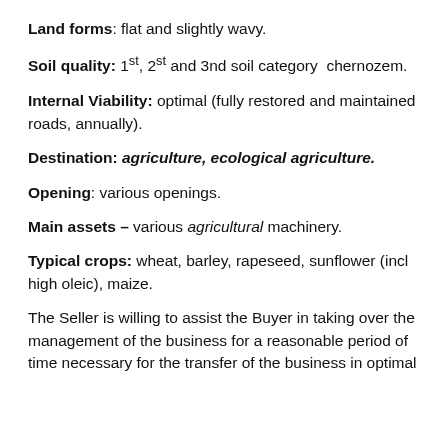Land forms: flat and slightly wavy.
Soil quality: 1st, 2st and 3nd soil category chernozem.
Internal Viability: optimal (fully restored and maintained roads, annually).
Destination: agriculture, ecological agriculture.
Opening: various openings.
Main assets – various agricultural machinery.
Typical crops: wheat, barley, rapeseed, sunflower (incl high oleic), maize.
The Seller is willing to assist the Buyer in taking over the management of the business for a reasonable period of time necessary for the transfer of the business in optimal